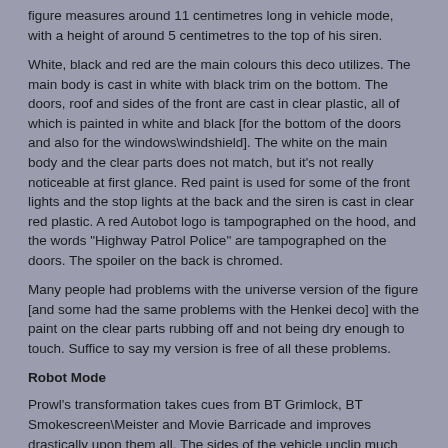figure measures around 11 centimetres long in vehicle mode, with a height of around 5 centimetres to the top of his siren.
White, black and red are the main colours this deco utilizes. The main body is cast in white with black trim on the bottom. The doors, roof and sides of the front are cast in clear plastic, all of which is painted in white and black [for the bottom of the doors and also for the windows\windshield]. The white on the main body and the clear parts does not match, but it's not really noticeable at first glance. Red paint is used for some of the front lights and the stop lights at the back and the siren is cast in clear red plastic. A red Autobot logo is tampographed on the hood, and the words "Highway Patrol Police" are tampographed on the doors. The spoiler on the back is chromed.
Many people had problems with the universe version of the figure [and some had the same problems with the Henkei deco] with the paint on the clear parts rubbing off and not being dry enough to touch. Suffice to say my version is free of all these problems.
Robot Mode
Prowl's transformation takes cues from BT Grimlock, BT Smokescreen\Meister and Movie Barricade and improves drastically upon them all. The sides of the vehicle unclip much like Barricade, the transformation of the legs is identical to Grimlock's bar the hatches at the bottom and the front end mimics and drastically improves Smokescreen's arm and chest transformation. Fully transformed, Prowl measures a good 15 centimetres tall to the tips of his crest\horns.